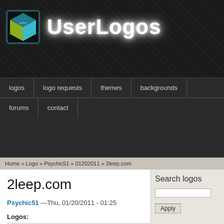[Figure (logo): UserLogos website header with 3D cube icon and 'UserLogos' text in glowing white stylized font on dark patterned background]
logos  logo requests  themes  backgrounds  forums  contact
Home » Logo » Psychic51 » 01202011 » 2leep.com
2leep.com
Psychic51 —Thu, 01/20/2011 - 01:25
Logos:
Search logos